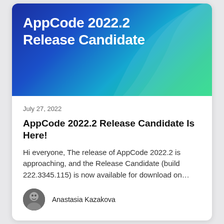[Figure (illustration): Hero banner with gradient background (dark blue to teal to green) and white bold title text reading AppCode 2022.2 Release Candidate. A decorative curved shape in lighter teal/green tones appears in the top-right corner.]
AppCode 2022.2 Release Candidate
July 27, 2022
AppCode 2022.2 Release Candidate Is Here!
Hi everyone, The release of AppCode 2022.2 is approaching, and the Release Candidate (build 222.3345.115) is now available for download on…
Anastasia Kazakova